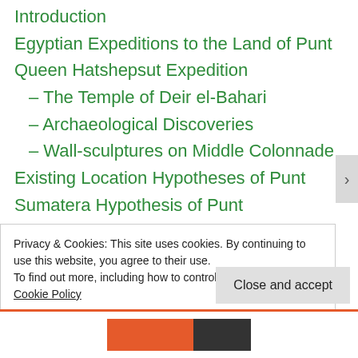Introduction
Egyptian Expeditions to the Land of Punt
Queen Hatshepsut Expedition
– The Temple of Deir el-Bahari
– Archaeological Discoveries
– Wall-sculptures on Middle Colonnade
Existing Location Hypotheses of Punt
Sumatera Hypothesis of Punt
– Sumatera Island
– Enggano Island
– Supporting Evidence
– Location Hypothesis
Land of Punt and its relation with Atlantis
Privacy & Cookies: This site uses cookies. By continuing to use this website, you agree to their use.
To find out more, including how to control cookies, see here: Cookie Policy